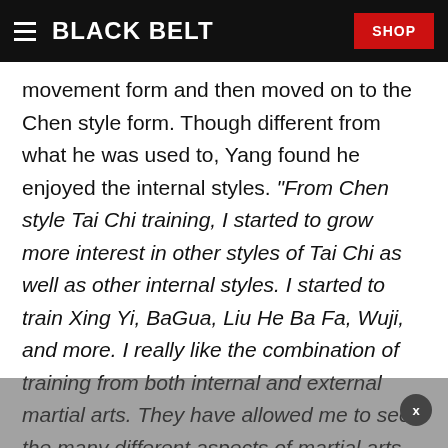BLACK BELT | SHOP
movement form and then moved on to the Chen style form. Though different from what he was used to, Yang found he enjoyed the internal styles. "From Chen style Tai Chi training, I started to grow more interest in other styles of Tai Chi as well as other internal styles. I started to train Xing Yi, BaGua, Liu He Ba Fa, Wuji, and more. I really like the combination of training from both internal and external martial arts. They have allowed me to see the many different aspects of martial arts. External and internal styles have different approaches to reaching the same goal."